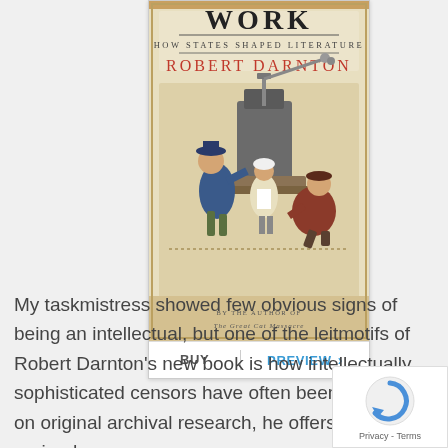[Figure (illustration): Book cover of a work by Robert Darnton subtitled 'How States Shaped Literature', featuring an illustration of figures operating an old printing press. Text at bottom reads 'By the author of The Great Cat Massacre'.]
BUY
PREVIEW ›
My taskmistress showed few obvious signs of being an intellectual, but one of the leitmotifs of Robert Darnton's new book is how intellectually sophisticated censors have often been. Drawing on original archival research, he offers three fine-grained,